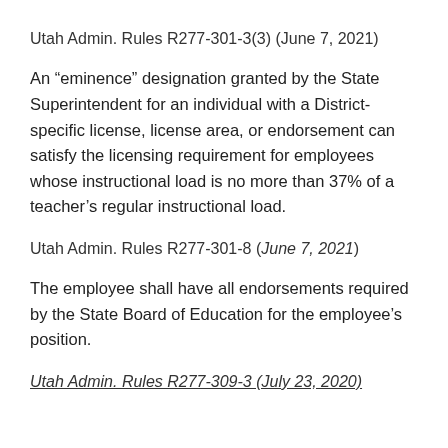Utah Admin. Rules R277-301-3(3) (June 7, 2021)
An “eminence” designation granted by the State Superintendent for an individual with a District-specific license, license area, or endorsement can satisfy the licensing requirement for employees whose instructional load is no more than 37% of a teacher’s regular instructional load.
Utah Admin. Rules R277-301-8 (June 7, 2021)
The employee shall have all endorsements required by the State Board of Education for the employee’s position.
Utah Admin. Rules R277-309-3 (July 23, 2020)